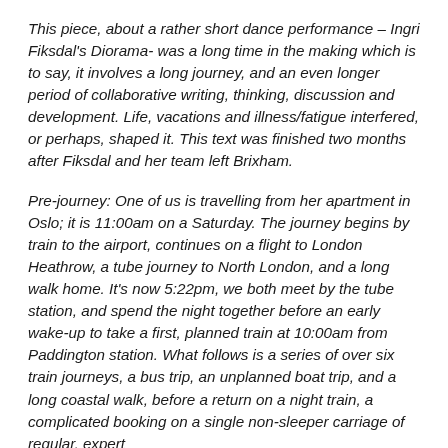This piece, about a rather short dance performance – Ingri Fiksdal's Diorama- was a long time in the making which is to say, it involves a long journey, and an even longer period of collaborative writing, thinking, discussion and development. Life, vacations and illness/fatigue interfered, or perhaps, shaped it. This text was finished two months after Fiksdal and her team left Brixham.
Pre-journey: One of us is travelling from her apartment in Oslo; it is 11:00am on a Saturday. The journey begins by train to the airport, continues on a flight to London Heathrow, a tube journey to North London, and a long walk home. It's now 5:22pm, we both meet by the tube station, and spend the night together before an early wake-up to take a first, planned train at 10:00am from Paddington station. What follows is a series of over six train journeys, a bus trip, an unplanned boat trip, and a long coastal walk, before a return on a night train, a complicated booking on a single non-sleeper carriage of regular, expert